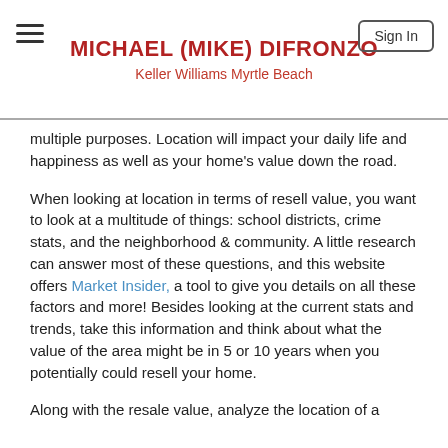MICHAEL (MIKE) DIFRONZO
Keller Williams Myrtle Beach
multiple purposes. Location will impact your daily life and happiness as well as your home's value down the road.
When looking at location in terms of resell value, you want to look at a multitude of things: school districts, crime stats, and the neighborhood & community. A little research can answer most of these questions, and this website offers Market Insider, a tool to give you details on all these factors and more! Besides looking at the current stats and trends, take this information and think about what the value of the area might be in 5 or 10 years when you potentially could resell your home.
Along with the resale value, analyze the location of a